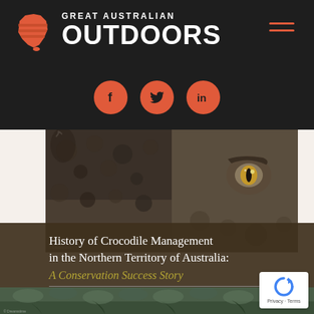[Figure (logo): Great Australian Outdoors logo with stylized orange/red Australia map icon and text]
[Figure (infographic): Social media icons: Facebook, Twitter, LinkedIn as orange circles on dark background]
[Figure (photo): Close-up photograph of a crocodile's eye and scaly head]
History of Crocodile Management in the Northern Territory of Australia: A Conservation Success Story
Grahame J.W. Webb
[Figure (photo): Bottom strip photo of crocodile scales/body in water with vegetation]